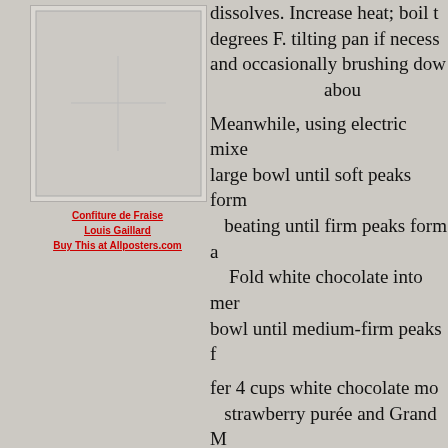[Figure (illustration): Painting or poster image placeholder — Confiture de Fraise by Louis Gaillard, shown as a framed rectangle]
Confiture de Fraise
Louis Gaillard
Buy This at Allposters.com
dissolves. Increase heat; boil to degrees F. tilting pan if necess and occasionally brushing dow about
Meanwhile, using electric mixe large bowl until soft peaks form beating until firm peaks form a Fold white chocolate into mer bowl until medium-firm peaks f
fer 4 cups white chocolate mo strawberry purée and Grand M of the strawberry mousse in pre late mousse and remaining stra until almost firm, about 15 mi over strawberry layer. Freeze
remaining berry mousse over w plastic and freeze overnigh Ke
For Dark Chocolate Sau...